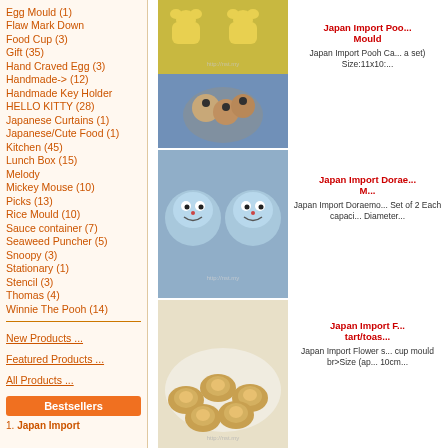Egg Mould (1)
Flaw Mark Down
Food Cup (3)
Gift (35)
Hand Craved Egg (3)
Handmade-> (12)
Handmade Key Holder
HELLO KITTY (28)
Japanese Curtains (1)
Japanese/Cute Food (1)
Kitchen (45)
Lunch Box (15)
Melody
Mickey Mouse (10)
Picks (13)
Rice Mould (10)
Sauce container (7)
Seaweed Puncher (5)
Snoopy (3)
Stationary (1)
Stencil (3)
Thomas (4)
Winnie The Pooh (14)
New Products ...
Featured Products ...
All Products ...
Bestsellers
1. Japan Import
[Figure (photo): Japan Import Pooh character yellow silicone moulds (top) and shaped bread/food items in bowl (bottom)]
Japan Import Pooh Car... Mould
Japan Import Pooh Ca... a set) Size:11x10:...
[Figure (photo): Japan Import Doraemon light blue silicone egg/food moulds]
Japan Import Dorae... M...
Japan Import Doraemo... Set of 2 Each capaci... Diameter...
[Figure (photo): Japan Import Flower shaped tart/toast food moulds with egg fillings on a plate]
Japan Import F... tart/toas...
Japan Import Flower s... cup mould br>Size (ap... 10cm...